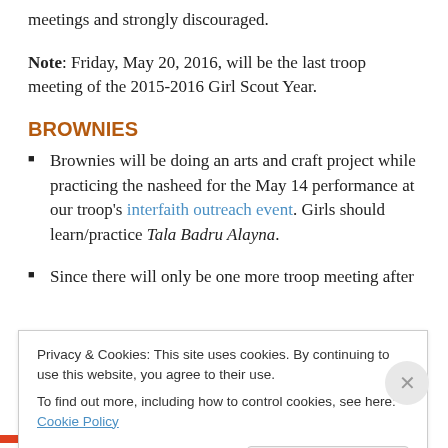meetings and strongly discouraged.
Note: Friday, May 20, 2016, will be the last troop meeting of the 2015-2016 Girl Scout Year.
BROWNIES
Brownies will be doing an arts and craft project while practicing the nasheed for the May 14 performance at our troop's interfaith outreach event. Girls should learn/practice Tala Badru Alayna.
Since there will only be one more troop meeting after
Privacy & Cookies: This site uses cookies. By continuing to use this website, you agree to their use. To find out more, including how to control cookies, see here: Cookie Policy